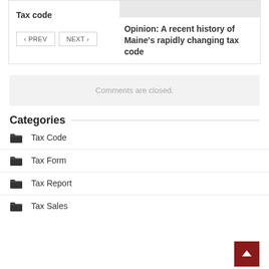Tax code
Opinion: A recent history of Maine's rapidly changing tax code
< PREV   NEXT >
Comments are closed.
Categories
Tax Code
Tax Form
Tax Report
Tax Sales